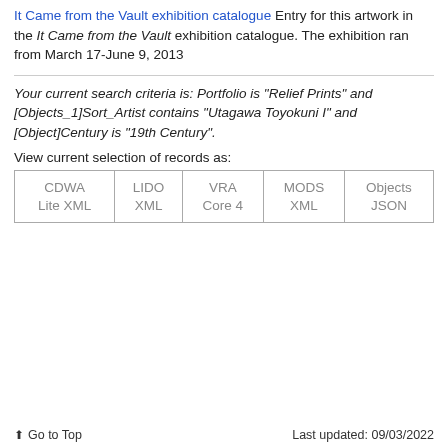It Came from the Vault exhibition catalogue Entry for this artwork in the It Came from the Vault exhibition catalogue. The exhibition ran from March 17-June 9, 2013
Your current search criteria is: Portfolio is "Relief Prints" and [Objects_1]Sort_Artist contains "Utagawa Toyokuni I" and [Object]Century is "19th Century".
View current selection of records as:
| CDWA Lite XML | LIDO XML | VRA Core 4 | MODS XML | Objects JSON |
| --- | --- | --- | --- | --- |
↑ Go to Top   Last updated: 09/03/2022